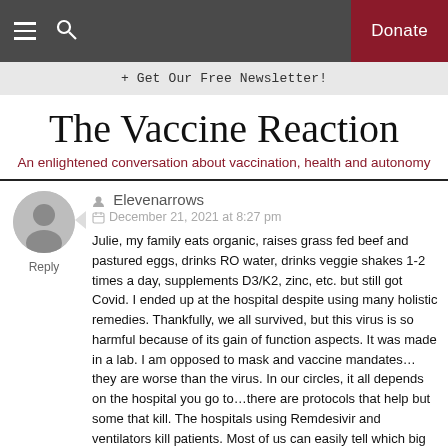The Vaccine Reaction — nav bar with hamburger menu, search, and Donate button
+ Get Our Free Newsletter!
The Vaccine Reaction
An enlightened conversation about vaccination, health and autonomy
Elevenarrows
December 21, 2021 at 8:27 pm
Reply
Julie, my family eats organic, raises grass fed beef and pastured eggs, drinks RO water, drinks veggie shakes 1-2 times a day, supplements D3/K2, zinc, etc. but still got Covid. I ended up at the hospital despite using many holistic remedies. Thankfully, we all survived, but this virus is so harmful because of its gain of function aspects. It was made in a lab. I am opposed to mask and vaccine mandates…they are worse than the virus. In our circles, it all depends on the hospital you go to…there are protocols that help but some that kill. The hospitals using Remdesivir and ventilators kill patients. Most of us can easily tell which big hospital